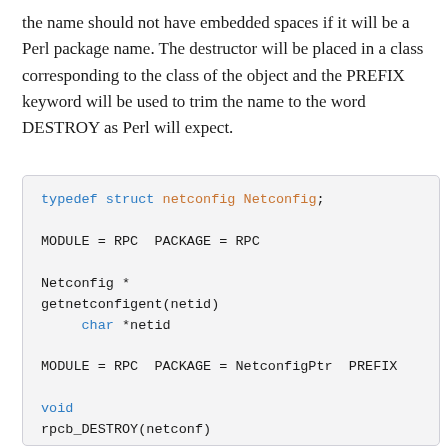the name should not have embedded spaces if it will be a Perl package name. The destructor will be placed in a class corresponding to the class of the object and the PREFIX keyword will be used to trim the name to the word DESTROY as Perl will expect.
[Figure (screenshot): Code block showing SWIG interface file with typedef struct netconfig Netconfig; MODULE = RPC PACKAGE = RPC, Netconfig * getnetconfigent(netid) char *netid, MODULE = RPC PACKAGE = NetconfigPtr PREFIX, void rpcb_DESTROY(netconf) Netconfig *netconf CODE: printf("Now in NetconfigPtr::DESTROY\n") free( netconf );]